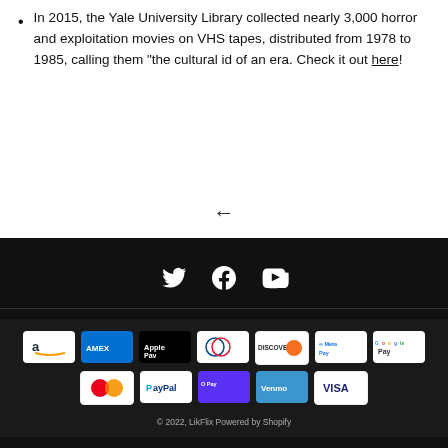In 2015, the Yale University Library collected nearly 3,000 horror and exploitation movies on VHS tapes, distributed from 1978 to 1985, calling them "the cultural id of an era. Check it out here!
[Figure (other): Left-pointing back arrow navigation icon]
[Figure (other): Social media icons: Twitter, Facebook, YouTube — white on dark background]
[Figure (other): Payment method icons: Amazon, Amex, Apple Pay, Diners Club, Discover, Meta Pay, Google Pay, Mastercard, PayPal, Shop Pay, Venmo, Visa]
© 2022, LikFlix Powered by Shopify